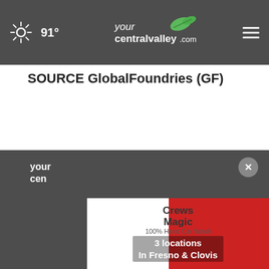91° yourcentralvalley.com
SOURCE GlobalFoundries (GF)
[Figure (screenshot): Search bar with 'Search by keyword' placeholder and dark SEARCH button, inside a light gray container]
[Figure (screenshot): Advertisement: Banggood.com - Banggood: Global Leading Online Shop for Gadgets and Fashion, with close and play icons]
[Figure (screenshot): Footer section with yourcentralvalley.com logo and Crews Magic car wash promotional banner: 3 locations In Fresno & Clovis, 100% Hand Car Wash]